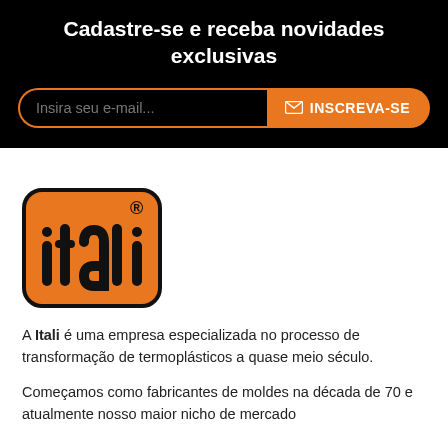Cadastre-se e receba novidades exclusivas
[Figure (screenshot): Email subscription form with placeholder 'Insira seu e-mail...' and orange INSCREVA-SE button]
[Figure (logo): Itali company logo — orange rounded square with black stylized 'itali' text and registered trademark symbol]
A Itali é uma empresa especializada no processo de transformação de termoplásticos a quase meio século.
Começamos como fabricantes de moldes na década de 70 e atualmente nosso maior nicho de mercado